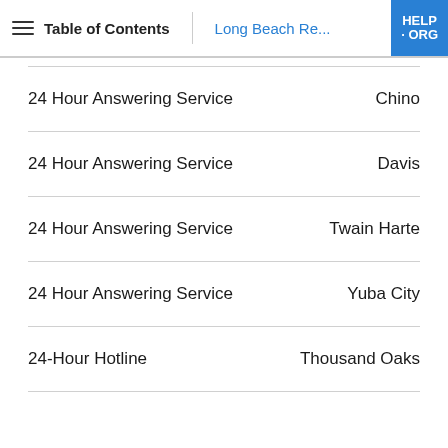Table of Contents | Long Beach Re... | HELP · ORG
24 Hour Answering Service — Chino
24 Hour Answering Service — Davis
24 Hour Answering Service — Twain Harte
24 Hour Answering Service — Yuba City
24-Hour Hotline — Thousand Oaks